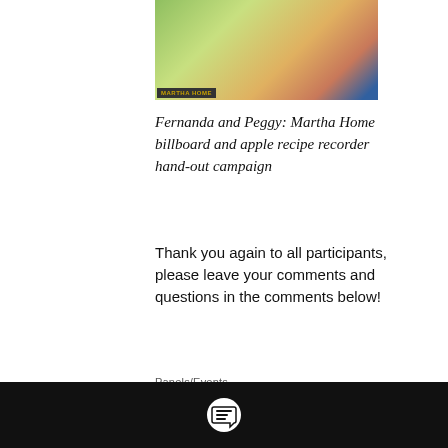[Figure (photo): Partial image of Snow White / Martha Home character with nature background, with 'MARTHA HOME' text label at bottom left]
Fernanda and Peggy: Martha Home billboard and apple recipe recorder hand-out campaign
Thank you again to all participants, please leave your comments and questions in the comments below!
Panels/Events
[Figure (infographic): Social share icons: Facebook, Twitter, LinkedIn, link/chain; scroll-to-top black button with up arrow]
[Figure (infographic): Stats bar: eye/views icon with count 4, comment bubble icon; heart/like icon on right]
[Figure (infographic): Black bottom bar with speech bubble / comment icon]